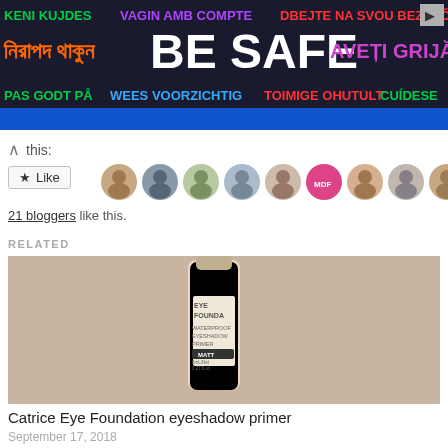[Figure (other): Multilingual 'BE SAFE' banner advertisement with text in multiple languages and scripts on dark background]
this:
Like
[Figure (photo): Row of circular avatar photos of bloggers]
21 bloggers like this.
RELATED
[Figure (photo): Photo of Catrice Eye Foundation eyeshadow primer product on beige carpet background]
Catrice Eye Foundation eyeshadow primer
September 17, 2018